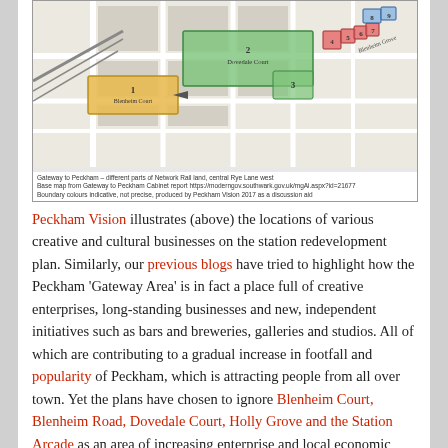[Figure (map): Map showing Gateway to Peckham - different parts of Network Rail land, central Rye Lane west. Colored zones labeled 1-9 indicating Blenheim Court, Dovedale Court, Blenheim Grove and other areas on a street map.]
Gateway to Peckham – different parts of Network Rail land, central Rye Lane west
Base map from Gateway to Peckham Cabinet report https://moderngov.southwark.gov.uk/mgAi.aspx?id=21677
Boundary colours indicative, not precise, produced by Peckham Vision 2017 as a discussion aid
Peckham Vision illustrates (above) the locations of various creative and cultural businesses on the station redevelopment plan. Similarly, our previous blogs have tried to highlight how the Peckham 'Gateway Area' is in fact a place full of creative enterprises, long-standing businesses and new, independent initiatives such as bars and breweries, galleries and studios. All of which are contributing to a gradual increase in footfall and popularity of Peckham, which is attracting people from all over town. Yet the plans have chosen to ignore Blenheim Court, Blenheim Road, Dovedale Court, Holly Grove and the Station Arcade as an area of increasing enterprise and local economic advantage. Instead, the whole area has been reduced to an entry and exit point for central London